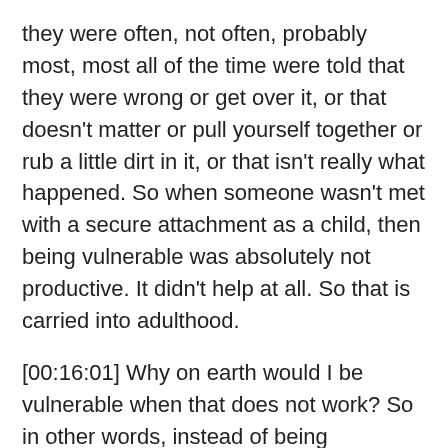they were often, not often, probably most, most all of the time were told that they were wrong or get over it, or that doesn't matter or pull yourself together or rub a little dirt in it, or that isn't really what happened. So when someone wasn't met with a secure attachment as a child, then being vulnerable was absolutely not productive. It didn't help at all. So that is carried into adulthood.
[00:16:01] Why on earth would I be vulnerable when that does not work? So in other words, instead of being vulnerable, I need to take this one up position and my brain is going to fill in all the gaps with all the ways that I am taking this one up position, or at least putting someone else in a one down position. So she goes on to say that narcissists are deeply wounded, she says, psychically, which has caused them to develop overcompensating over compensatory over compensatory coping strategies such as the need for grandiosity and